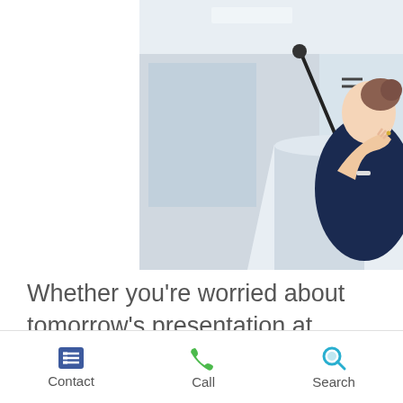[Figure (photo): A woman speaking at a podium/lectern with a microphone, viewed from the side. She is wearing a dark navy top and appears to be presenting in a conference or office setting.]
Whether you’re worried about tomorrow’s presentation at work, or the possibility of an impending breakup, anxiety can easily sneak up on you. In the heat of an anxiety attack, it can be really tough to channel calming thoughts. Having a toolbox filled with effective anxiety and stress management tools can
Contact  Call  Search